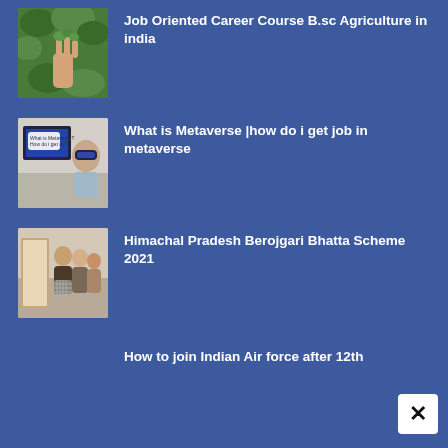[Figure (photo): Hand holding green plants/leaves against a green leafy background]
Job Oriented Career Course B.sc Agriculture in india
[Figure (photo): Person wearing VR headset next to a screen with text about Metaverse]
What is Metaverse |how do i get job in metaverse
[Figure (photo): Group of people/students gathered together, possibly a classroom or community scene]
Himachal Pradesh Berojgari Bhatta Scheme 2021
How to join Indian Air force after 12th